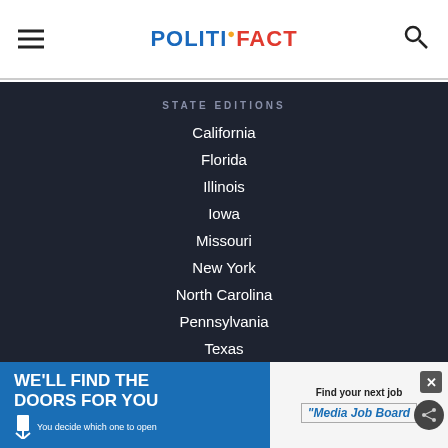POLITIFACT
STATE EDITIONS
California
Florida
Illinois
Iowa
Missouri
New York
North Carolina
Pennsylvania
Texas
Virginia
West Virginia
[Figure (screenshot): Advertisement banner: 'WE'LL FIND THE DOORS FOR YOU - You decide which one to open' with Media Job Board logo]